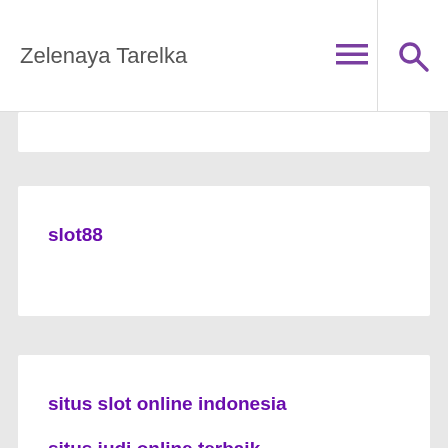Zelenaya Tarelka
slot88
situs slot online indonesia
situs judi online terbaik